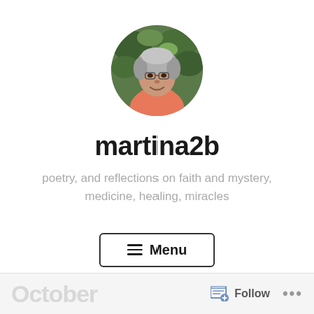[Figure (photo): Circular profile photo of a woman with gray hair wearing a salmon/pink top, outdoors with green foliage in the background]
martina2b
poetry, and reflections on faith and mystery, medicine, healing, miracles
≡ Menu
October   Follow  ...